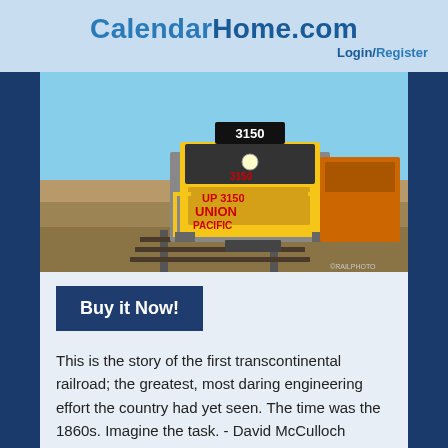CalendarHome.com Login/Register
[Figure (photo): Front-facing view of a Union Pacific diesel locomotive numbered 3150, yellow and gray paint scheme, on railroad tracks in an arid landscape.]
Buy it Now!
This is the story of the first transcontinental railroad; the greatest, most daring engineering effort the country had yet seen. The time was the 1860s. Imagine the task. - David McCulloch Through a series of mergers, Union Pacific, grew into the most powe ...